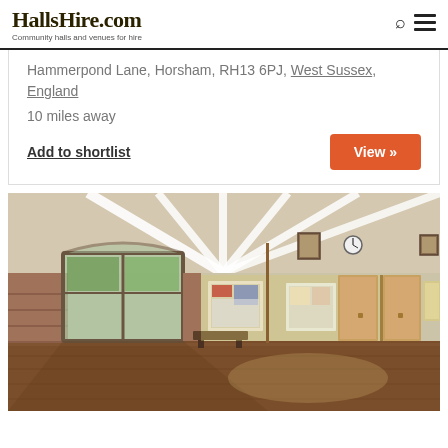HallsHire.com — Community halls and venues for hire
Hammerpond Lane, Horsham, RH13 6PJ, West Sussex, England
10 miles away
Add to shortlist
View »
[Figure (photo): Interior of a community hall showing a large open room with wooden floor, vaulted ceiling with white beams, brick walls, glass double doors on the left leading to a garden, and wooden notice boards and doors on the far wall.]